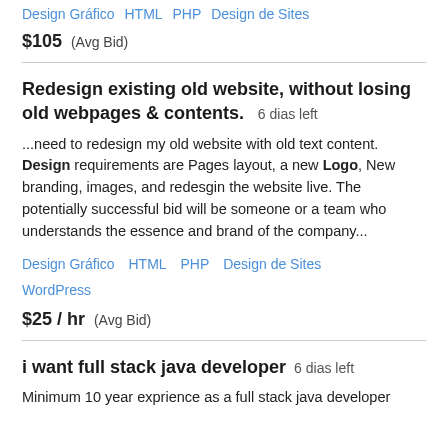Design Gráfico   HTML   PHP   Design de Sites
$105  (Avg Bid)
Redesign existing old website, without losing old webpages & contents.  6 dias left
...need to redesign my old website with old text content. Design requirements are Pages layout, a new Logo, New branding, images, and redesgin the website live. The potentially successful bid will be someone or a team who understands the essence and brand of the company...
Design Gráfico   HTML   PHP   Design de Sites   WordPress
$25 / hr  (Avg Bid)
i want full stack java developer  6 dias left
Minimum 10 year exprience as a full stack java developer